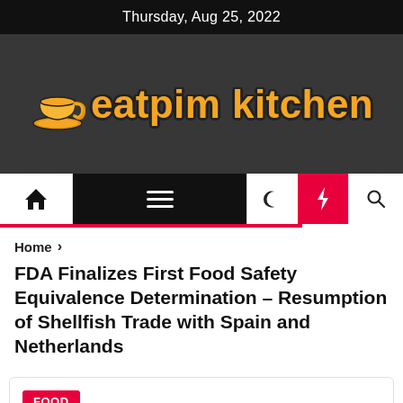Thursday, Aug 25, 2022
[Figure (logo): Eatpim Kitchen logo with orange cup icon and text on dark kitchen background]
[Figure (screenshot): Website navigation bar with home icon, hamburger menu, moon icon, lightning bolt (red background), and search icon]
Home >
FDA Finalizes First Food Safety Equivalence Determination – Resumption of Shellfish Trade with Spain and Netherlands
FOOD